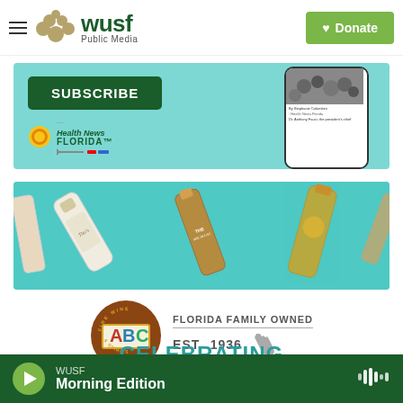[Figure (logo): WUSF Public Media logo with golden dots and green text, plus green Donate button with heart icon]
[Figure (infographic): Health News Florida SUBSCRIBE banner ad — teal background, dark green SUBSCRIBE button, Health News Florida logo, phone mockup showing news content]
[Figure (photo): ABC Fine Wine & Spirits advertisement — teal background with Tito's vodka bottle, The Macallan whisky bottle, and other spirit bottles arranged diagonally]
[Figure (logo): ABC Fine Wine & Spirits logo — circular brown badge with ABC in colored letters, Fine Wine & Spirits text, plus Florida Family Owned Est. 1936 tagline with Florida state shape]
CELEBRATING PUBLIC RADIO
WUSF Morning Edition